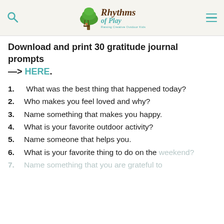Rhythms of Play — Raising Creative Outdoor Kids
Download and print 30 gratitude journal prompts —> HERE.
1. What was the best thing that happened today?
2. Who makes you feel loved and why?
3. Name something that makes you happy.
4. What is your favorite outdoor activity?
5. Name someone that helps you.
6. What is your favorite thing to do on the weekend?
7. Name something that you are grateful to